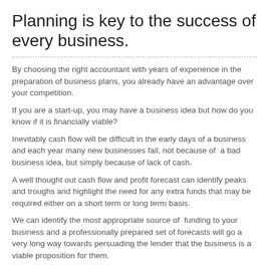Planning is key to the success of every business.
By choosing the right accountant with years of experience in the preparation of business plans, you already have an advantage over your competition.
If you are a start-up, you may have a business idea but how do you know if it is financially viable?
Inevitably cash flow will be difficult in the early days of a business and each year many new businesses fail, not because of  a bad business idea, but simply because of lack of cash.
A well thought out cash flow and profit forecast can identify peaks and troughs and highlight the need for any extra funds that may be required either on a short term or long term basis.
We can identify the most appropriate source of  funding to your business and a professionally prepared set of forecasts will go a very long way towards persuading the lender that the business is a viable proposition for them.